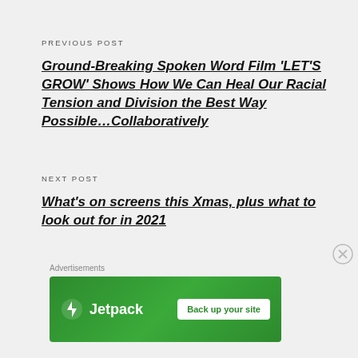PREVIOUS POST
Ground-Breaking Spoken Word Film ‘LET'S GROW’ Shows How We Can Heal Our Racial Tension and Division the Best Way Possible…Collaboratively
NEXT POST
What’s on screens this Xmas, plus what to look out for in 2021
Advertisements
[Figure (other): Jetpack advertisement banner with green background, Jetpack logo on left and 'Back up your site' button on right]